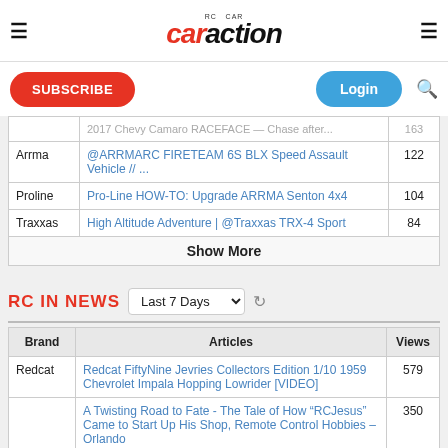RC Car Action
| Brand | Articles | Views |
| --- | --- | --- |
| Arrma | @ARRMARC FIRETEAM 6S BLX Speed Assault Vehicle // ... | 122 |
| Proline | Pro-Line HOW-TO: Upgrade ARRMA Senton 4x4 | 104 |
| Traxxas | High Altitude Adventure | @Traxxas TRX-4 Sport | 84 |
|  | Show More |  |
RC IN NEWS
| Brand | Articles | Views |
| --- | --- | --- |
| Redcat | Redcat FiftyNine Jevries Collectors Edition 1/10 1959 Chevrolet Impala Hopping Lowrider [VIDEO] | 579 |
|  | A Twisting Road to Fate - The Tale of How “RCJesus” Came to Start Up His Shop, Remote Control Hobbies – Orlando | 350 |
|  | ARRMA Gravity Boost 550 Motor Brushed RTR 1/10... |  |